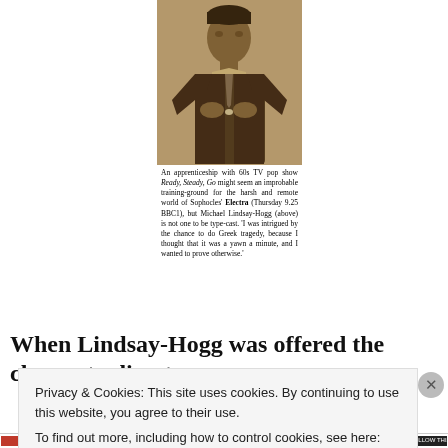[Figure (photo): Black and white newspaper photograph of Michael Lindsay-Hogg looking downward, appearing to examine something small held in his hands, wearing a suit.]
An apprenticeship with 60s TV pop show Ready, Steady, Go might seem an improbable training-ground for the harsh and remote world of Sophocles' Electra (Thursday 9.25 BBC1), but Michael Lindsay-Hogg (above) is not one to be type-cast. 'I was intrigued by the chance to do Greek tragedy, because I thought that it was a yawn a minute, and I wanted to prove otherwise.'
When Lindsay-Hogg was offered the chance to direct
Privacy & Cookies: This site uses cookies. By continuing to use this website, you agree to their use.
To find out more, including how to control cookies, see here: Cookie Policy
Close and accept